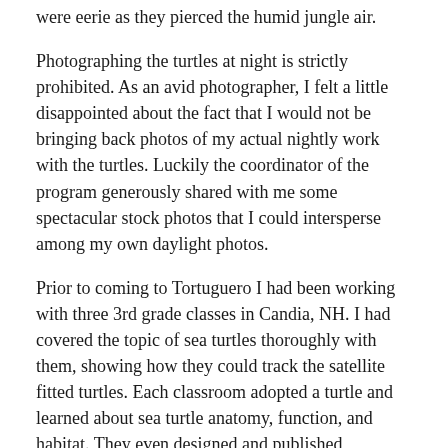were eerie as they pierced the humid jungle air.
Photographing the turtles at night is strictly prohibited. As an avid photographer, I felt a little disappointed about the fact that I would not be bringing back photos of my actual nightly work with the turtles. Luckily the coordinator of the program generously shared with me some spectacular stock photos that I could intersperse among my own daylight photos.
Prior to coming to Tortuguero I had been working with three 3rd grade classes in Candia, NH. I had covered the topic of sea turtles thoroughly with them, showing how they could track the satellite fitted turtles. Each classroom adopted a turtle and learned about sea turtle anatomy, function, and habitat. They even designed and published brochures for our Technology Fair, writing about the problems sea turtles face and possible solutions for their survival. Now I'll be able to return with my first-hand knowledge of tagging sea turtles and share this wonderful experience with them.
It's heartening that the native people of Costa Rica realize the full impact of protecting the sea turtle. "A live turtle is worth